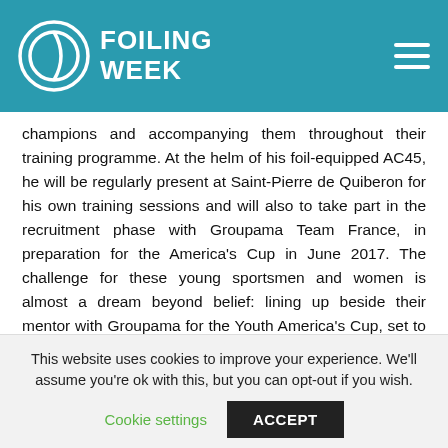FOILING WEEK
champions and accompanying them throughout their training programme. At the helm of his foil-equipped AC45, he will be regularly present at Saint-Pierre de Quiberon for his own training sessions and will also to take part in the recruitment phase with Groupama Team France, in preparation for the America's Cup in June 2017. The challenge for these young sportsmen and women is almost a dream beyond belief: lining up beside their mentor with Groupama for the Youth America's Cup, set to take place in Bermuda in June 2017.
Specific training courses for pros
This website uses cookies to improve your experience. We'll assume you're ok with this, but you can opt-out if you wish.